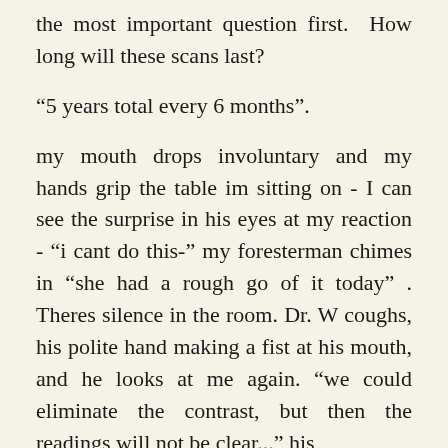the most important question first.  How long will these scans last?
"5 years total every 6 months".
my mouth drops involuntary and my hands grip the table im sitting on - I can see the surprise in his eyes at my reaction - "i cant do this-" my foresterman chimes in "she had a rough go of it today" . Theres silence in the room. Dr. W coughs, his polite hand making a fist at his mouth, and he looks at me again. "we could eliminate the contrast, but then the readings will not be clear..." his